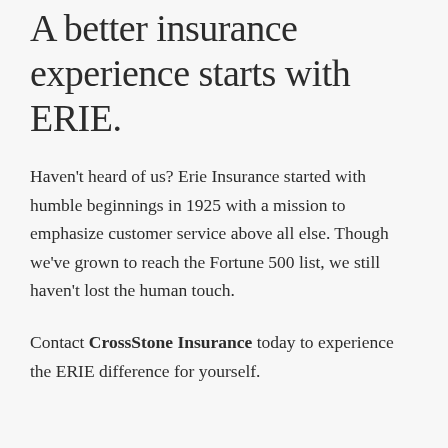A better insurance experience starts with ERIE.
Haven't heard of us? Erie Insurance started with humble beginnings in 1925 with a mission to emphasize customer service above all else. Though we've grown to reach the Fortune 500 list, we still haven't lost the human touch.
Contact CrossStone Insurance today to experience the ERIE difference for yourself.